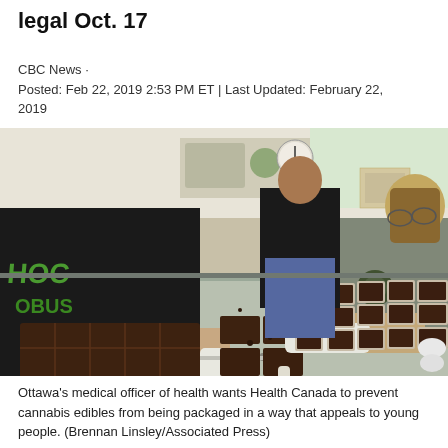legal Oct. 17
CBC News ·
Posted: Feb 22, 2019 2:53 PM ET | Last Updated: February 22, 2019
[Figure (photo): Workers in a kitchen setting cutting and arranging chocolate cannabis edibles (brownies) on a stainless steel table. One worker on the left wearing a black hoodie with green text is cutting brownies with a knife. A worker in the background in a black shirt is standing at a counter. A worker on the right in a grey t-shirt with green logo is wearing white gloves and arranging individual brownies in small paper cups.]
Ottawa's medical officer of health wants Health Canada to prevent cannabis edibles from being packaged in a way that appeals to young people. (Brennan Linsley/Associated Press)